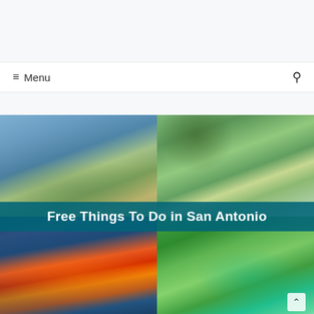≡ Menu
[Figure (photo): Collage of four photos of San Antonio River Walk and gardens, with a dark teal banner overlay reading 'Free Things To Do in San Antonio']